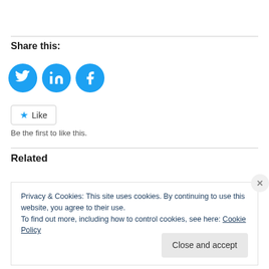Share this:
[Figure (illustration): Three social media sharing icons: Twitter (bird), LinkedIn (in), Facebook (f) — all blue circles]
[Figure (illustration): Like button with blue star icon and 'Like' text, rounded border]
Be the first to like this.
Related
Privacy & Cookies: This site uses cookies. By continuing to use this website, you agree to their use.
To find out more, including how to control cookies, see here: Cookie Policy
Close and accept